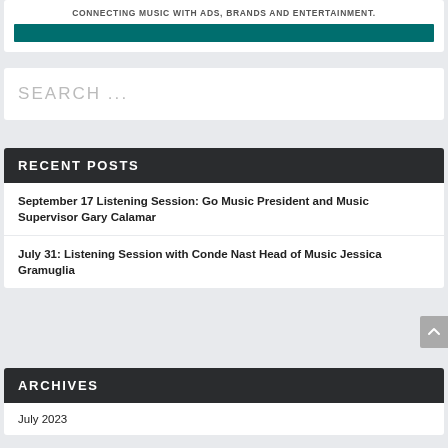CONNECTING MUSIC WITH ADS, BRANDS AND ENTERTAINMENT.
[Figure (other): Teal/dark green horizontal decorative bar]
SEARCH ...
RECENT POSTS
September 17 Listening Session: Go Music President and Music Supervisor Gary Calamar
July 31: Listening Session with Conde Nast Head of Music Jessica Gramuglia
ARCHIVES
July 2023